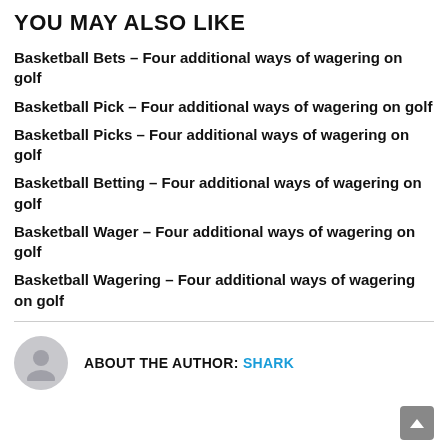YOU MAY ALSO LIKE
Basketball Bets – Four additional ways of wagering on golf
Basketball Pick – Four additional ways of wagering on golf
Basketball Picks – Four additional ways of wagering on golf
Basketball Betting – Four additional ways of wagering on golf
Basketball Wager – Four additional ways of wagering on golf
Basketball Wagering – Four additional ways of wagering on golf
ABOUT THE AUTHOR: SHARK